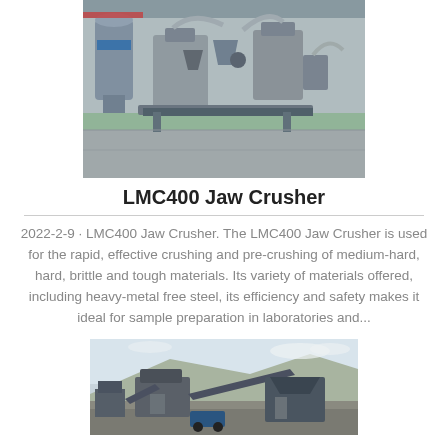[Figure (photo): Industrial jaw crusher machine in a factory setting with equipment and conveyor components visible]
LMC400 Jaw Crusher
2022-2-9 · LMC400 Jaw Crusher. The LMC400 Jaw Crusher is used for the rapid, effective crushing and pre-crushing of medium-hard, hard, brittle and tough materials. Its variety of materials offered, including heavy-metal free steel, its efficiency and safety makes it ideal for sample preparation in laboratories and...
[Figure (photo): Outdoor quarry or mining site with industrial crushing equipment and conveyor systems on a hillside]